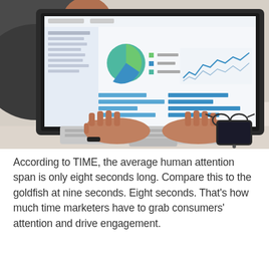[Figure (photo): Overhead view of a person typing on a laptop showing a dashboard with charts (pie chart, line charts, bar charts), with glasses and a smartphone on the desk beside the laptop.]
According to TIME, the average human attention span is only eight seconds long. Compare this to the goldfish at nine seconds. Eight seconds. That's how much time marketers have to grab consumers' attention and drive engagement.